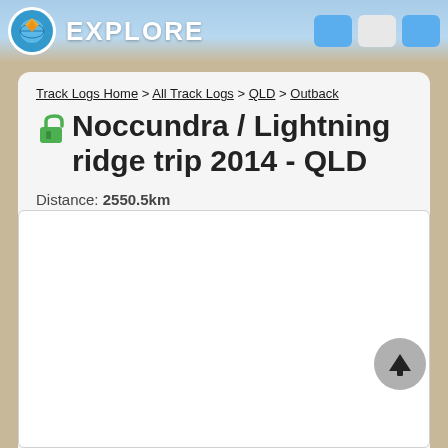EXPLORE
Track Logs Home > All Track Logs > QLD > Outback
🔓 Noccundra / Lightning ridge trip 2014 - QLD
Distance: 2550.5km
Submitted By: Member. Rob M (QLD)
Recorded: 04 Apr 2014
[Figure (other): Empty white map/content box with scroll-to-top button]